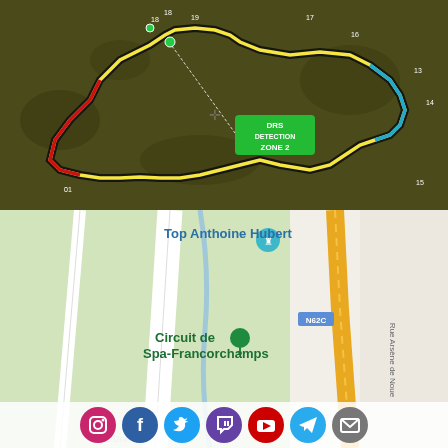[Figure (map): Formula 1 circuit layout map of Spa-Francorchamps showing track outline with DRS Detection Zone 2 label, corner numbers, red/yellow/blue/black track sections on dark olive green background]
[Figure (map): Google Maps style map showing Circuit de Spa-Francorchamps location, Top Anthoine Hubert marker, N62C road, Rue Arsène de Noue street label, green circuit area, yellow road, with social media icons (Instagram, Facebook, Twitter, Twitch, YouTube, Telegram, Email) overlaid at bottom]